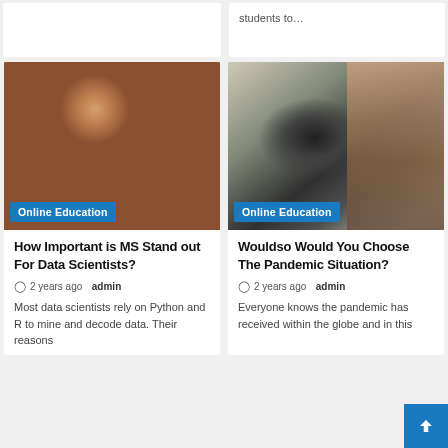students to…
[Figure (photo): Woman wearing headphones reading a book in a library with bookshelves in background. Blue 'Online Education' badge at bottom left.]
[Figure (photo): Student working at a desk with a laptop open and writing in a notebook. Blue 'Online Education' badge at bottom left.]
How Important is MS Stand out For Data Scientists?
2 years ago  admin
Most data scientists rely on Python and R to mine and decode data. Their reasons
Wouldso Would You Choose The Pandemic Situation?
2 years ago  admin
Everyone knows the pandemic has received within the globe and in this